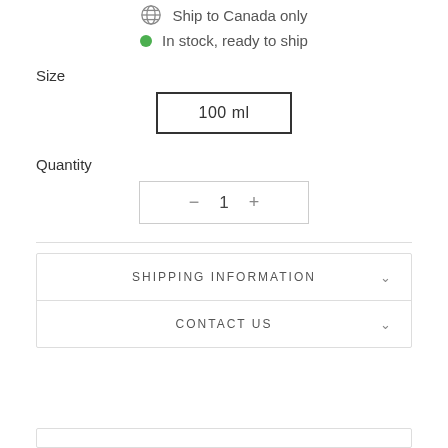Ship to Canada only
In stock, ready to ship
Size
100 ml
Quantity
− 1 +
SHIPPING INFORMATION
CONTACT US